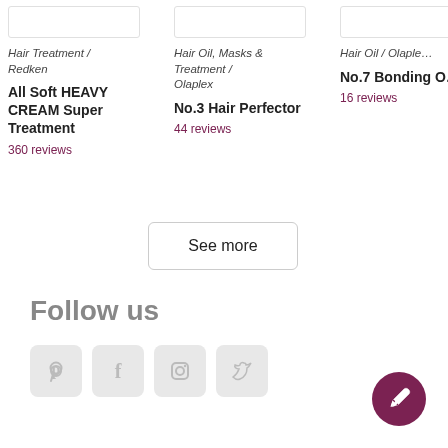Hair Treatment / Redken
All Soft HEAVY CREAM Super Treatment
360 reviews
Hair Oil, Masks & Treatment / Olaplex
No.3 Hair Perfector
44 reviews
Hair Oil / Olaplex
No.7 Bonding O...
16 reviews
See more
Follow us
[Figure (illustration): Social media icons: Pinterest, Facebook, Instagram, Twitter in grey rounded square boxes]
[Figure (illustration): Dark maroon circular edit/write FAB button with pencil icon]